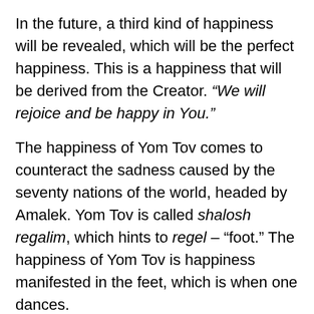In the future, a third kind of happiness will be revealed, which will be the perfect happiness. This is a happiness that will be derived from the Creator. “We will rejoice and be happy in You.”
The happiness of Yom Tov comes to counteract the sadness caused by the seventy nations of the world, headed by Amalek. Yom Tov is called shalosh regalim, which hints to regel – “foot.” The happiness of Yom Tov is happiness manifested in the feet, which is when one dances.
Purim comes to counteract the sadness caused by the Erev Rav. The happiness of Purim is happiness in one’s heart, which is when one reaches his yashrus by removing his cheshbonos rabim.
But the most perfect kind of happiness will only be